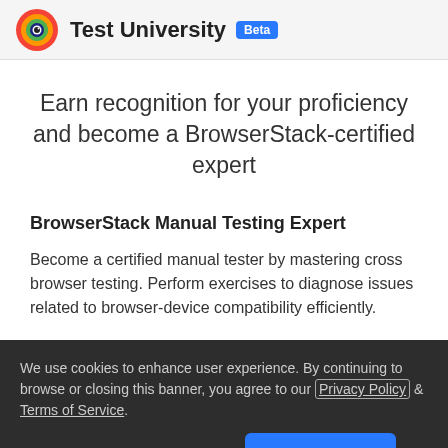Test University Beta
Earn recognition for your proficiency and become a BrowserStack-certified expert
BrowserStack Manual Testing Expert
Become a certified manual tester by mastering cross browser testing. Perform exercises to diagnose issues related to browser-device compatibility efficiently.
We use cookies to enhance user experience. By continuing to browse or closing this banner, you agree to our Privacy Policy & Terms of Service.